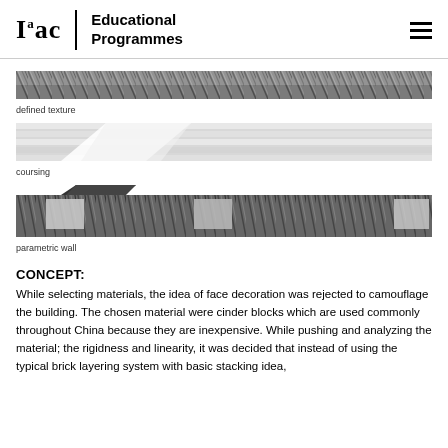Iaac | Educational Programmes
[Figure (illustration): Three horizontal diagram strips showing architectural material studies: 'defined texture' (dark marbled/striped texture strip), 'coursing' (light grey horizontal bands with a peaked white form), and 'parametric wall' (dark textured strip with a dark peaked form and light rectangular openings)]
defined texture
coursing
parametric wall
CONCEPT:
While selecting materials, the idea of face decoration was rejected to camouflage the building. The chosen material were cinder blocks which are used commonly throughout China because they are inexpensive. While pushing and analyzing the material; the rigidness and linearity, it was decided that instead of using the typical brick layering system with basic stacking idea,